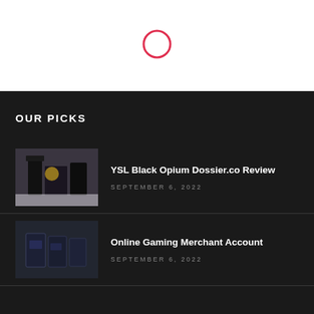[Figure (logo): Red circle outline icon centered in white top section]
OUR PICKS
[Figure (photo): YSL Black Opium perfume bottles and packaging on white background]
YSL Black Opium Dossier.co Review
SEPTEMBER 6, 2022
[Figure (photo): Online gaming or tech product boxes in dark blue tones]
Online Gaming Merchant Account
SEPTEMBER 6, 2022